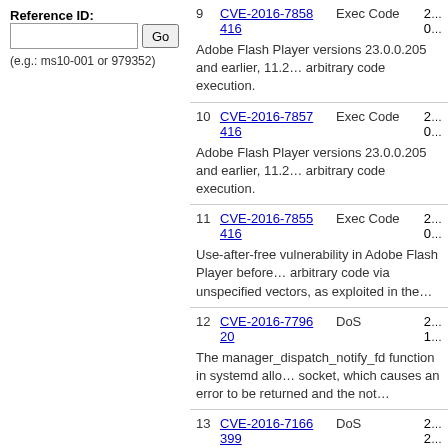Reference ID:
(e.g.: ms10-001 or 979352)
| # | CVE | Type | Score |
| --- | --- | --- | --- |
| 9 | CVE-2016-7858 416 | Exec Code | 2… 0… |
| 10 | CVE-2016-7857 416 | Exec Code | 2… 0… |
| 11 | CVE-2016-7855 416 | Exec Code | 2… 0… |
| 12 | CVE-2016-7796 20 | DoS | 2… 1… |
| 13 | CVE-2016-7166 399 | DoS | 2… 2… |
| 14 | CVE-2016-7163 190 | Exec Code
Overflow | 2… 2… |
Adobe Flash Player versions 23.0.0.205 and earlier, 11.2... arbitrary code execution.
Adobe Flash Player versions 23.0.0.205 and earlier, 11.2... arbitrary code execution.
Use-after-free vulnerability in Adobe Flash Player before... arbitrary code via unspecified vectors, as exploited in the...
The manager_dispatch_notify_fd function in systemd allo... socket, which causes an error to be returned and the not...
libarchive before 3.2.0 does not limit the number of recur... application crash) via a crafted gzip file.
Integer overflow in the opj_pi_create_decode function in...